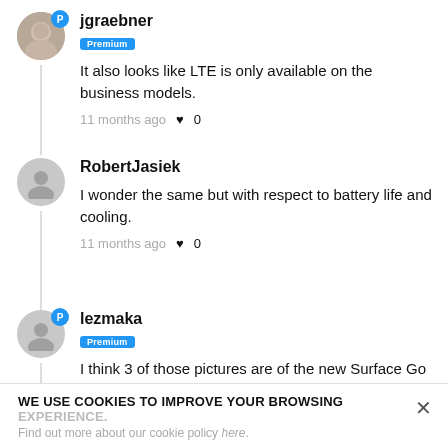jgraebner
Premium
It also looks like LTE is only available on the business models.
11 months ago ♥ 0
RobertJasiek
I wonder the same but with respect to battery life and cooling.
11 months ago ♥ 0
lezmaka
Premium
I think 3 of those pictures are of the new Surface Go - only 1 USB-C and headphone
WE USE COOKIES TO IMPROVE YOUR BROWSING EXPERIENCE.
Find out more about our cookie policy here.